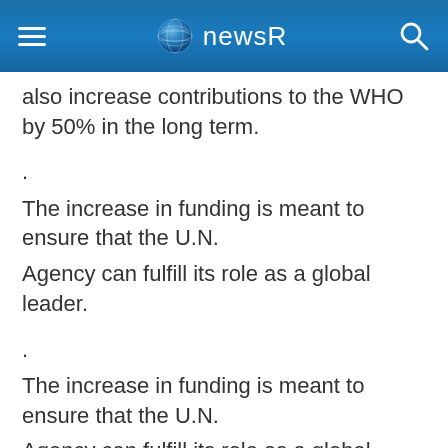newsR
also increase contributions to the WHO by 50% in the long term.
.
The increase in funding is meant to ensure that the U.N.

Agency can fulfill its role as a global leader.
.
The increase in funding is meant to ensure that the U.N.

Agency can fulfill its role as a global leader.